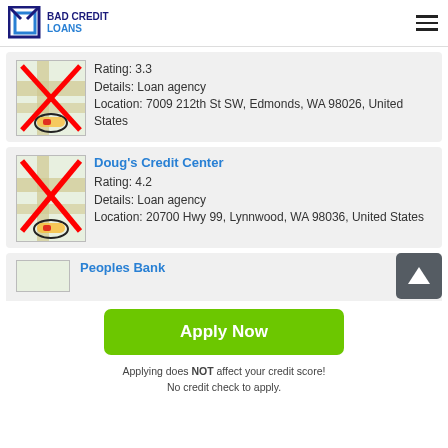BAD CREDIT LOANS
Rating: 3.3
Details: Loan agency
Location: 7009 212th St SW, Edmonds, WA 98026, United States
Doug's Credit Center
Rating: 4.2
Details: Loan agency
Location: 20700 Hwy 99, Lynnwood, WA 98036, United States
Peoples Bank
Apply Now
Applying does NOT affect your credit score!
No credit check to apply.